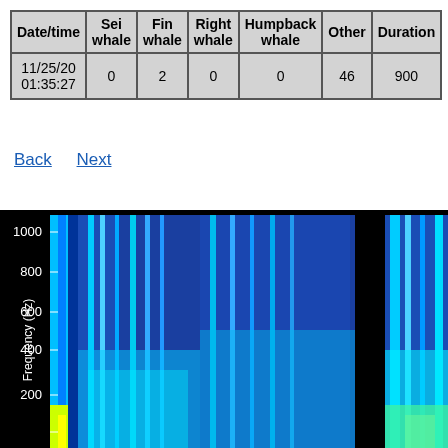| Date/time | Sei whale | Fin whale | Right whale | Humpback whale | Other | Duration |
| --- | --- | --- | --- | --- | --- | --- |
| 11/25/20 01:35:27 | 0 | 2 | 0 | 0 | 46 | 900 |
Back   Next
[Figure (other): Spectrogram showing frequency (Hz) on y-axis from approximately 200 to 1000 Hz. The image shows acoustic data with color-coded intensity from blue (low) to yellow/green (high). A vertical black band is visible near the right portion of the image. The y-axis label reads 'Frequency (Hz)' rotated 90 degrees.]